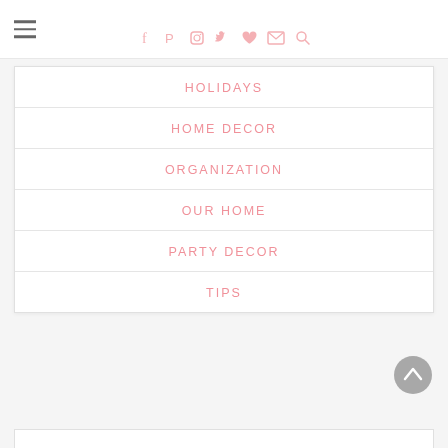Navigation header with social icons: Facebook, Pinterest, Instagram, Twitter, Heart, Email, Search
HOLIDAYS
HOME DECOR
ORGANIZATION
OUR HOME
PARTY DECOR
TIPS